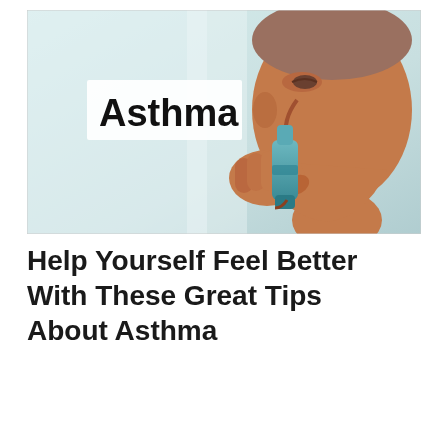[Figure (photo): A person using a blue asthma inhaler, shown in profile/side view with mouth on inhaler. A white overlay box in the upper-left of the image contains the bold black text 'Asthma'. Background is a blurred bright room.]
Help Yourself Feel Better With These Great Tips About Asthma